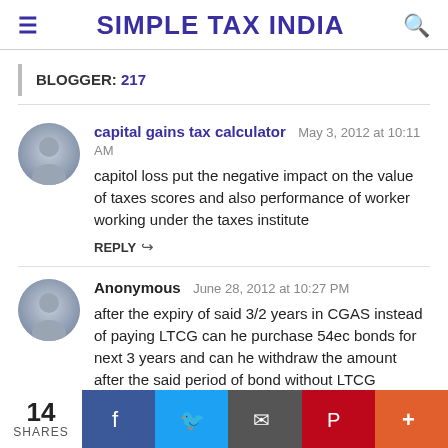SIMPLE TAX INDIA
BLOGGER: 217
capital gains tax calculator  May 3, 2012 at 10:11 AM
capitol loss put the negative impact on the value of taxes scores and also performance of worker working under the taxes institute
REPLY
Anonymous  June 28, 2012 at 10:27 PM
after the expiry of said 3/2 years in CGAS instead of paying LTCG can he purchase 54ec bonds for next 3 years and can he withdraw the amount after the said period of bond without LTCG taxation.
14 SHARES